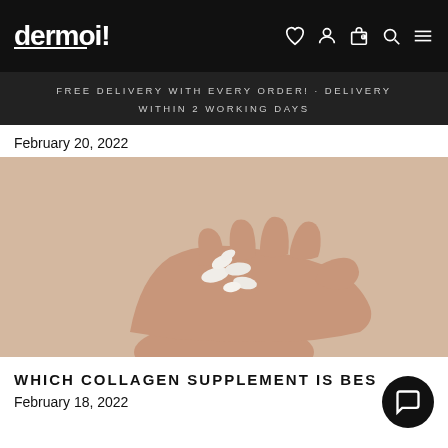dermoi!
FREE DELIVERY WITH EVERY ORDER! · DELIVERY WITHIN 2 WORKING DAYS
February 20, 2022
[Figure (photo): A hand with open palm holding several white supplement capsules/pills against a beige background]
WHICH COLLAGEN SUPPLEMENT IS BES
February 18, 2022